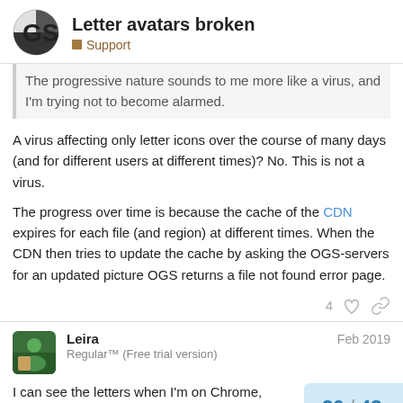Letter avatars broken — Support
The progressive nature sounds to me more like a virus, and I'm trying not to become alarmed.
A virus affecting only letter icons over the course of many days (and for different users at different times)? No. This is not a virus.
The progress over time is because the cache of the CDN expires for each file (and region) at different times. When the CDN then tries to update the cache by asking the OGS-servers for an updated picture OGS returns a file not found error page.
Leira — Feb 2019 — Regular™ (Free trial version)
I can see the letters when I'm on Chrome, Firefox. @walken 's W does show up for m